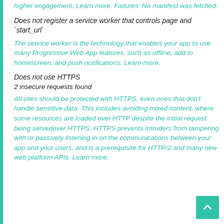higher engagement. Learn more. Failures: No manifest was fetched.
Does not register a service worker that controls page and `start_url`
The service worker is the technology that enables your app to use many Progressive Web App features, such as offline, add to homescreen, and push notifications. Learn more.
Does not use HTTPS
2 insecure requests found
All sites should be protected with HTTPS, even ones that don't handle sensitive data. This includes avoiding mixed content, where some resources are loaded over HTTP despite the initial request being servedover HTTPS. HTTPS prevents intruders from tampering with or passively listening in on the communications between your app and your users, and is a prerequisite for HTTP/2 and many new web platform APIs. Learn more.